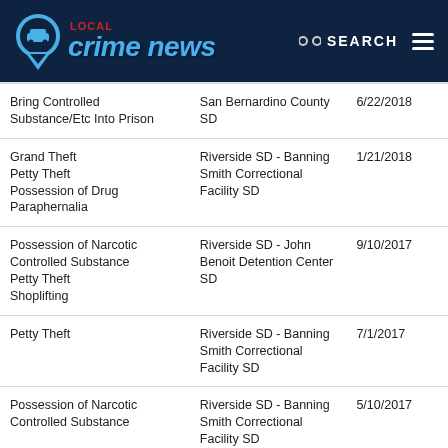LOCAL crime news | SEARCH
| Charge | Jurisdiction | Date |
| --- | --- | --- |
| Bring Controlled Substance/Etc Into Prison | San Bernardino County SD | 6/22/2018 |
| Grand Theft
Petty Theft
Possession of Drug Paraphernalia | Riverside SD - Banning Smith Correctional Facility SD | 1/21/2018 |
| Possession of Narcotic Controlled Substance
Petty Theft
Shoplifting | Riverside SD - John Benoit Detention Center SD | 9/10/2017 |
| Petty Theft | Riverside SD - Banning Smith Correctional Facility SD | 7/1/2017 |
| Possession of Narcotic Controlled Substance | Riverside SD - Banning Smith Correctional Facility SD | 5/10/2017 |
| Possession of Controlled Substance
Possession of Narcotic Controlled Substance | San Diego County SD | 12/12/2015 |